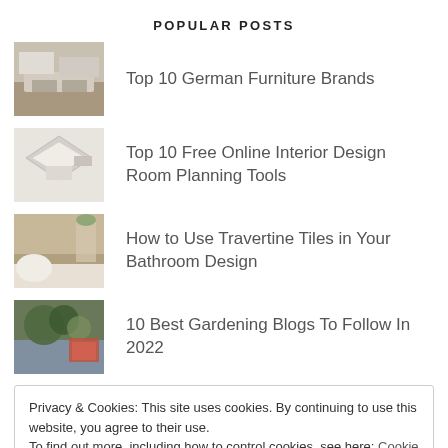POPULAR POSTS
Top 10 German Furniture Brands
Top 10 Free Online Interior Design Room Planning Tools
How to Use Travertine Tiles in Your Bathroom Design
10 Best Gardening Blogs To Follow In 2022
Privacy & Cookies: This site uses cookies. By continuing to use this website, you agree to their use.
To find out more, including how to control cookies, see here: Cookie Policy
Close and accept